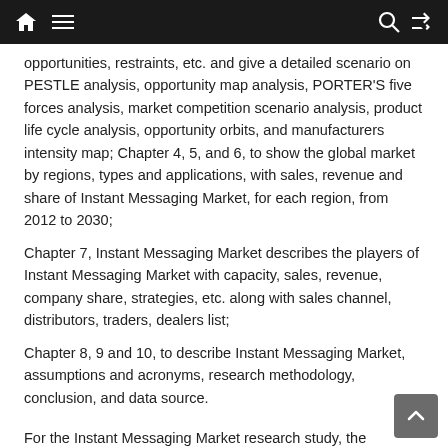navigation header bar with home, menu, search, and shuffle icons
opportunities, restraints, etc. and give a detailed scenario on PESTLE analysis, opportunity map analysis, PORTER'S five forces analysis, market competition scenario analysis, product life cycle analysis, opportunity orbits, and manufacturers intensity map; Chapter 4, 5, and 6, to show the global market by regions, types and applications, with sales, revenue and share of Instant Messaging Market, for each region, from 2012 to 2030;
Chapter 7, Instant Messaging Market describes the players of Instant Messaging Market with capacity, sales, revenue, company share, strategies, etc. along with sales channel, distributors, traders, dealers list;
Chapter 8, 9 and 10, to describe Instant Messaging Market, assumptions and acronyms, research methodology, conclusion, and data source.
For the Instant Messaging Market research study, the following years have been considered to estimate the market size...